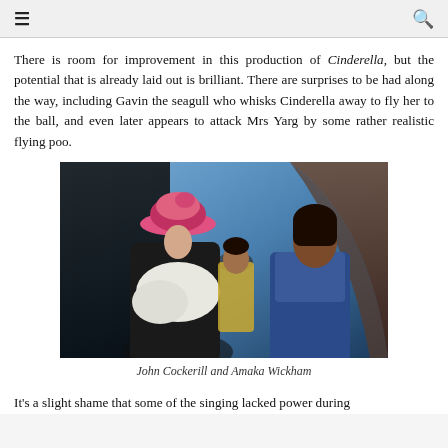≡  🔍
There is room for improvement in this production of Cinderella, but the potential that is already laid out is brilliant. There are surprises to be had along the way, including Gavin the seagull who whisks Cinderella away to fly her to the ball, and even later appears to attack Mrs Yarg by some rather realistic flying poo.
[Figure (photo): Two performers on stage: a woman in a large pink hat and white feathered costume (John Cockerill) facing a young woman in a blue jacket (Amaka Wickham), with a third performer in gold costume visible in the background, set against a blue and brown scenic backdrop.]
John Cockerill and Amaka Wickham
It's a slight shame that some of the singing lacked power during